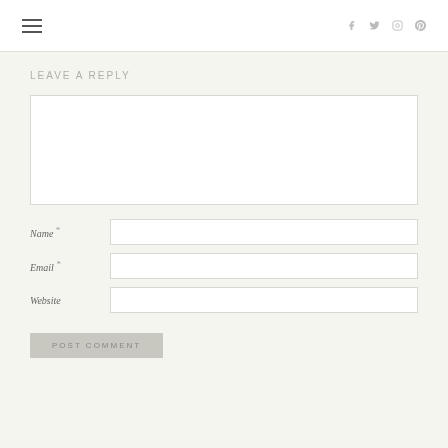≡  f  🐦  ○  ℗
LEAVE A REPLY
Comment text area (empty)
Name *
Email *
Website
POST COMMENT